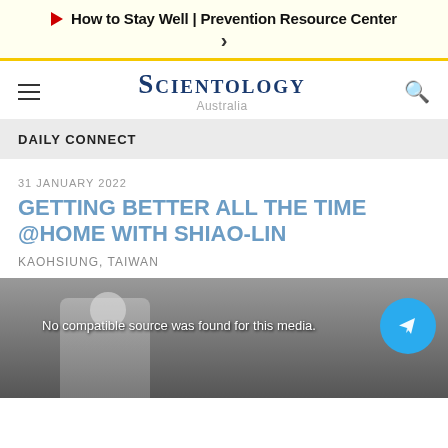▶ How to Stay Well | Prevention Resource Center >
[Figure (logo): Scientology Australia website logo with hamburger menu and search icon]
DAILY CONNECT
31 JANUARY 2022
GETTING BETTER ALL THE TIME @HOME WITH SHIAO-LIN
KAOHSIUNG, TAIWAN
[Figure (screenshot): Video player showing a person wearing a mask, with message 'No compatible source was found for this media.' and Telegram share button overlay.]